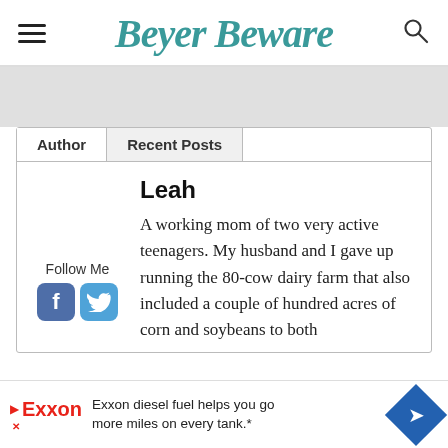Beyer Beware
Author | Recent Posts
Leah
A working mom of two very active teenagers. My husband and I gave up running the 80-cow dairy farm that also included a couple of hundred acres of corn and soybeans to both
Follow Me
Exxon diesel fuel helps you go more miles on every tank.*